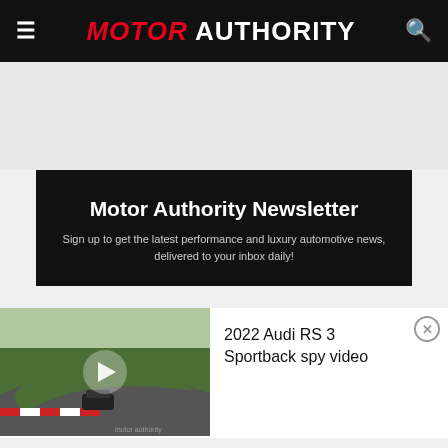MOTOR AUTHORITY
Motor Authority Newsletter
Sign up to get the latest performance and luxury automotive news, delivered to your inbox daily!
[Figure (screenshot): Video thumbnail showing a car on a race track (Nurburgring), with a play button overlay. Beside it is a title panel reading '2022 Audi RS 3 Sportback spy video' with a close button.]